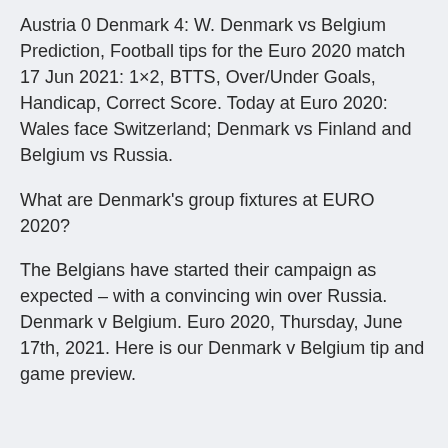Austria 0 Denmark 4: W. Denmark vs Belgium Prediction, Football tips for the Euro 2020 match 17 Jun 2021: 1×2, BTTS, Over/Under Goals, Handicap, Correct Score. Today at Euro 2020: Wales face Switzerland; Denmark vs Finland and Belgium vs Russia.
What are Denmark's group fixtures at EURO 2020?
The Belgians have started their campaign as expected – with a convincing win over Russia. Denmark v Belgium. Euro 2020, Thursday, June 17th, 2021. Here is our Denmark v Belgium tip and game preview.